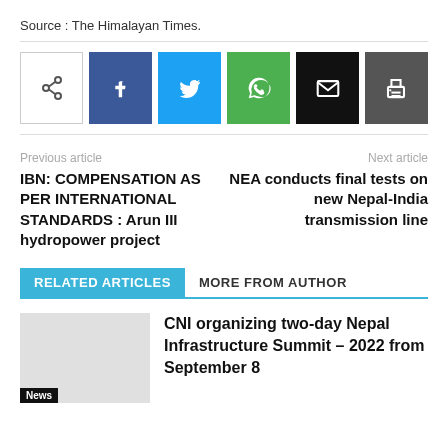Source : The Himalayan Times.
[Figure (infographic): Social sharing buttons row: share icon (outlined), Facebook (blue), Twitter (cyan), WhatsApp (green), Email (black), Print (dark gray)]
Previous article
Next article
IBN: COMPENSATION AS PER INTERNATIONAL STANDARDS : Arun III hydropower project
NEA conducts final tests on new Nepal-India transmission line
RELATED ARTICLES   MORE FROM AUTHOR
CNI organizing two-day Nepal Infrastructure Summit – 2022 from September 8